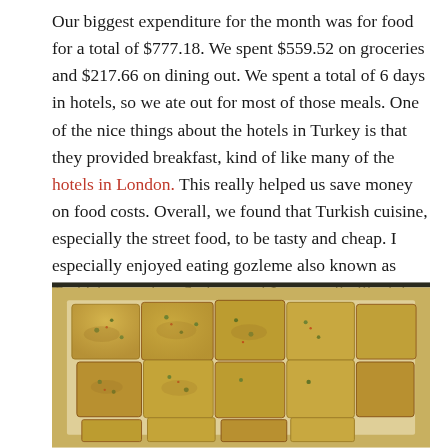Our biggest expenditure for the month was for food for a total of $777.18. We spent $559.52 on groceries and $217.66 on dining out. We spent a total of 6 days in hotels, so we ate out for most of those meals. One of the nice things about the hotels in Turkey is that they provided breakfast, kind of like many of the hotels in London. This really helped us save money on food costs. Overall, we found that Turkish cuisine, especially the street food, to be tasty and cheap. I especially enjoyed eating gozleme also known as Turkish pancakes. Sydney and Jason really liked the Kofte.
[Figure (photo): Photo of gozleme (Turkish pancakes) cut into squares on white paper/parchment, served on a tray or plate]